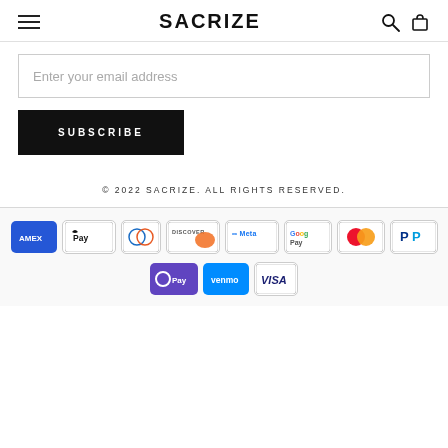SACRIZE
Enter your email address
SUBSCRIBE
© 2022 SACRIZE. ALL RIGHTS RESERVED.
[Figure (infographic): Payment method logos: American Express, Apple Pay, Diners Club, Discover, Meta Pay, Google Pay, Mastercard, PayPal, OPay, Venmo, Visa]